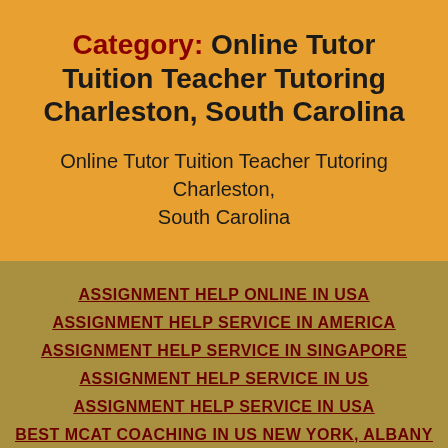Category: Online Tutor Tuition Teacher Tutoring Charleston, South Carolina
Online Tutor Tuition Teacher Tutoring Charleston, South Carolina
ASSIGNMENT HELP ONLINE IN USA
ASSIGNMENT HELP SERVICE IN AMERICA
ASSIGNMENT HELP SERVICE IN SINGAPORE
ASSIGNMENT HELP SERVICE IN US
ASSIGNMENT HELP SERVICE IN USA
BEST MCAT COACHING IN US NEW YORK, ALBANY
BEST MCAT COACHING NEAR ME
BEST MCAT TEACHER IN US VIRGINIA, RICHMOND